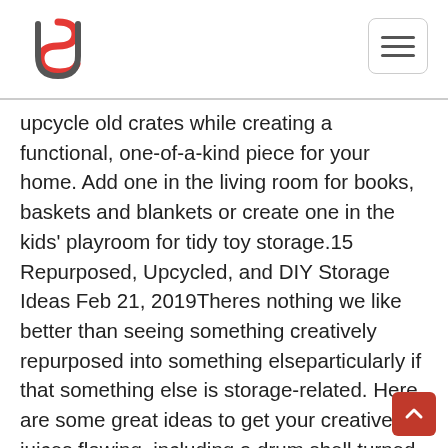Logo and navigation header
upcycle old crates while creating a functional, one-of-a-kind piece for your home. Add one in the living room for books, baskets and blankets or create one in the kids' playroom for tidy toy storage.15 Repurposed, Upcycled, and DIY Storage Ideas Feb 21, 2019Theres nothing we like better than seeing something creatively repurposed into something elseparticularly if that something else is storage-related. Here are some great ideas to get your creative juices flowing, including a drum shell turned into an ottoman and an old window shutter upcycled into a mail carrier1. Cut the shelves to size using a table saw. See the notes for cut lengths.2. Using your 1 1/2" spade bit, you're going to drill three holes through each 70" board and two holes through each 36" board. Your holes need to b Industrial pipe shelving Repurpose and Upcycle3. Stain your boards. We used Ebony stain, let that dry, and them used random Gray stain in various areas for a rustic look.4. Begin building your industrial pipe shelving. Each shelf has a long piece of pipe, tee, a